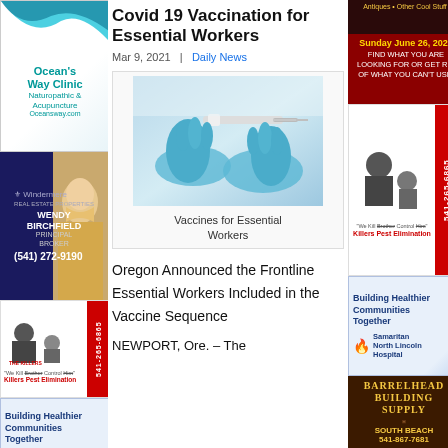[Figure (infographic): Ocean's Way Clinic Naturopathic & Acupuncture advertisement with teal wave logo, Oceansway.com]
[Figure (infographic): Windermere real estate ad: Wendy Birchfield Principal Broker (541) 272-9190 with woman photo]
[Figure (infographic): The Killers Pest Elimination ad with cartoon characters and phone 541-265-6865]
[Figure (infographic): Building Healthier Communities Together - Samaritan North Lincoln Hospital ad]
[Figure (infographic): Barrelhead Building Supply ad]
Covid 19 Vaccination for Essential Workers
Mar 9, 2021  |  Daily News
[Figure (photo): Photo of blue-gloved hands holding a syringe/vaccine needle]
Vaccines for Essential Workers
Oregon Announced the Frontline Essential Workers Included in the Vaccine Sequence
NEWPORT, Ore. – The
[Figure (infographic): Antiques • Other Cool Stuff banner at top right]
[Figure (infographic): Sunday June 26, 2022 - Find what you are looking for or get rid of what you can't use! ad]
[Figure (infographic): The Killers Pest Elimination ad right column with phone 541-265-6865]
[Figure (infographic): Building Healthier Communities Together - Samaritan North Lincoln Hospital ad right column]
[Figure (infographic): Barrelhead Building Supply South Beach 541-867-7681 ad right column]